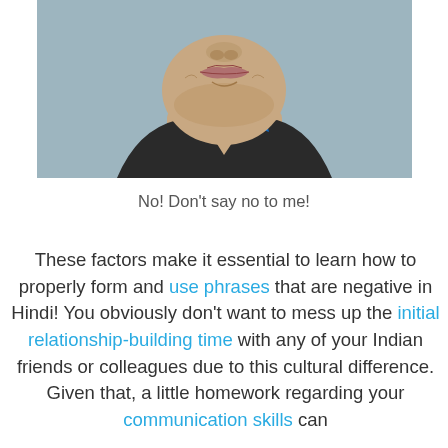[Figure (photo): Close-up photo of a man's lower face and neck, making a grimacing or displeased expression, wearing a dark shirt with yellow accent, against a blue-grey background.]
No! Don't say no to me!
These factors make it essential to learn how to properly form and use phrases that are negative in Hindi! You obviously don't want to mess up the initial relationship-building time with any of your Indian friends or colleagues due to this cultural difference. Given that, a little homework regarding your communication skills can